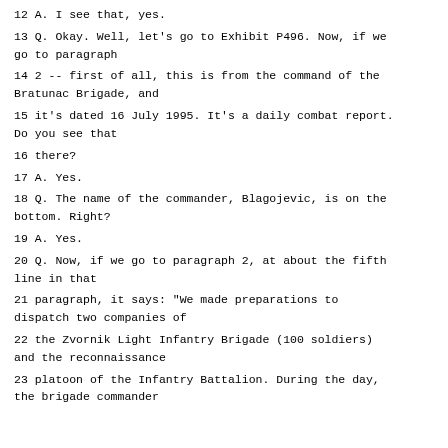12 A. I see that, yes.
13 Q. Okay. Well, let's go to Exhibit P496. Now, if we go to paragraph
14 2 -- first of all, this is from the command of the Bratunac Brigade, and
15 it's dated 16 July 1995. It's a daily combat report. Do you see that
16 there?
17 A. Yes.
18 Q. The name of the commander, Blagojevic, is on the bottom. Right?
19 A. Yes.
20 Q. Now, if we go to paragraph 2, at about the fifth line in that
21 paragraph, it says: "We made preparations to dispatch two companies of
22 the Zvornik Light Infantry Brigade (100 soldiers) and the reconnaissance
23 platoon of the Infantry Battalion. During the day, the brigade commander